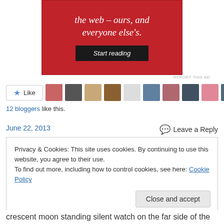[Figure (screenshot): Red advertisement banner with white italic text 'the web – ours, and everyone else's.' and a dark 'Start reading' button]
REPORT THIS AD
[Figure (screenshot): Like button with star icon and a row of 11 blogger avatar thumbnails]
12 bloggers like this.
June 22, 2013
Leave a Reply
Privacy & Cookies: This site uses cookies. By continuing to use this website, you agree to their use.
To find out more, including how to control cookies, see here: Cookie Policy
Close and accept
crescent moon standing silent watch on the far side of the